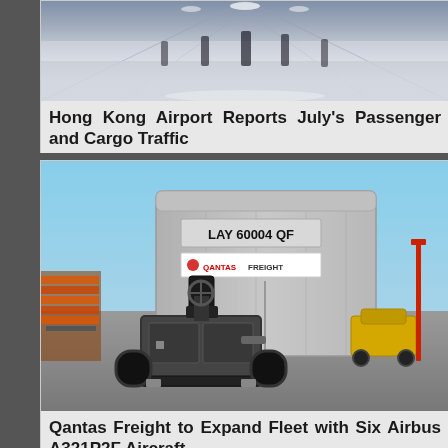[Figure (photo): Airport terminal interior photo showing a wide concourse with reflective floor and people silhouettes walking]
Hong Kong Airport Reports July's Passenger and Cargo Traffic
[Figure (photo): Qantas Freight container unit labeled LAY 60004 QF being towed by a ground support vehicle on an airport tarmac]
Qantas Freight to Expand Fleet with Six Airbus A321P2F Aircraft